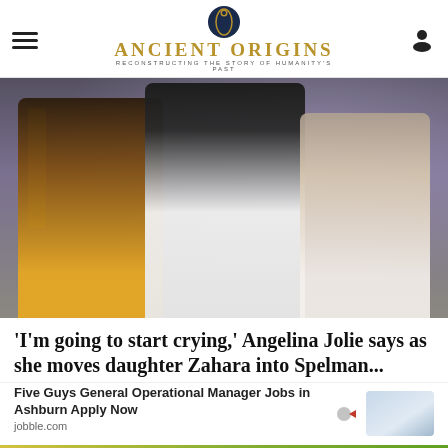Ancient Origins — Reconstructing the story of humanity's past
[Figure (photo): Three people posing together at an event: a young woman with yellow dress and braids on the left, a woman in black blazer and white shirt in the center, and a young girl in light outfit on the right. Background is a decorative grey/purple event backdrop.]
'I'm going to start crying,' Angelina Jolie says as she moves daughter Zahara into Spelman...
[Figure (photo): Advertisement: Five Guys General Operational Manager Jobs in Ashburn Apply Now – jobble.com, showing a photo of a workplace setting.]
[Figure (photo): Teaser image at bottom showing a natural/outdoor scene with green and yellow tones.]